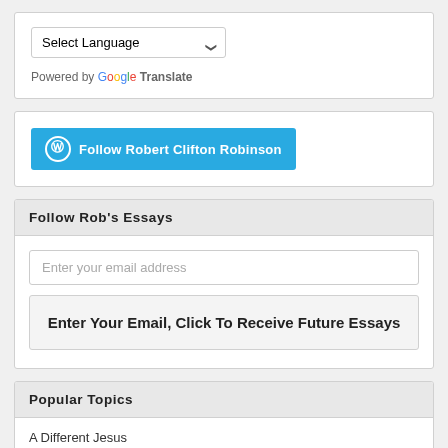[Figure (screenshot): Language selector dropdown widget with 'Select Language' and a down arrow, followed by 'Powered by Google Translate' text]
[Figure (screenshot): WordPress follow button in blue: Follow Robert Clifton Robinson]
Follow Rob's Essays
Enter your email address
Enter Your Email, Click To Receive Future Essays
Popular Topics
A Different Jesus